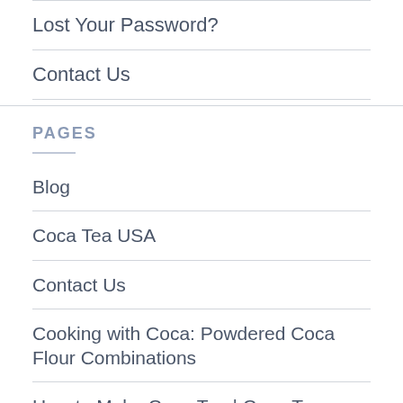Lost Your Password?
Contact Us
PAGES
Blog
Coca Tea USA
Contact Us
Cooking with Coca: Powdered Coca Flour Combinations
How to Make Coca Tea | Coca Tea Preparation Guide